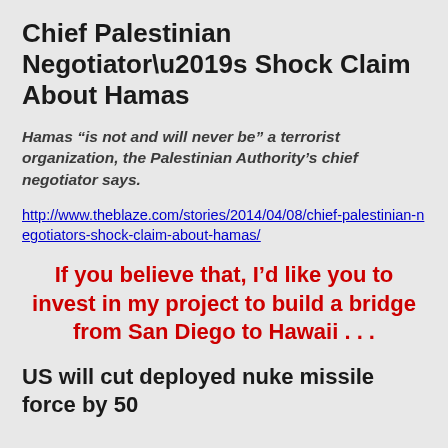Chief Palestinian Negotiator’s Shock Claim About Hamas
Hamas “is not and will never be” a terrorist organization, the Palestinian Authority’s chief negotiator says.
http://www.theblaze.com/stories/2014/04/08/chief-palestinian-negotiators-shock-claim-about-hamas/
If you believe that, I’d like you to invest in my project to build a bridge from San Diego to Hawaii . . .
US will cut deployed nuke missile force by 50